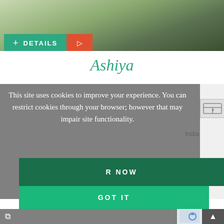[Figure (photo): Photo of a person with green and brown background, with a teal DETAILS button and orange flag/bookmark button overlaid at the bottom]
Ashiya
This site uses cookies to improve your experience. You can restrict cookies through your browser; however that may impair site functionality.
R NOW
GOT IT
India
LOAD MORE